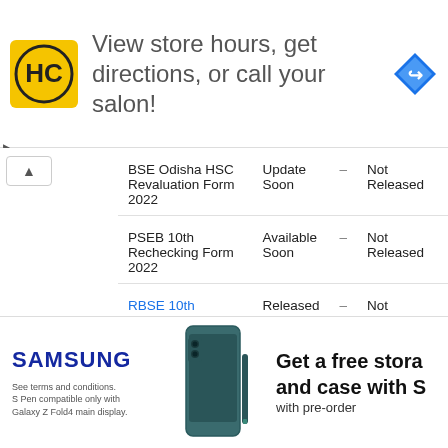[Figure (illustration): Advertisement banner: HC salon logo, text 'View store hours, get directions, or call your salon!', blue diamond navigation icon]
| Form | Status |  | Result |
| --- | --- | --- | --- |
| BSE Odisha HSC Revaluation Form 2022 | Update Soon | – | Not Released |
| PSEB 10th Rechecking Form 2022 | Available Soon | – | Not Released |
| RBSE 10th Rechecking Form 2022 | Released Soon | – | Not Released |
[Figure (illustration): Samsung advertisement: Samsung logo, Galaxy Z Fold4 phone image, text 'Get a free storage and case with S' and 'with pre-order'. Fine print about S Pen and Galaxy Z Fold4.]